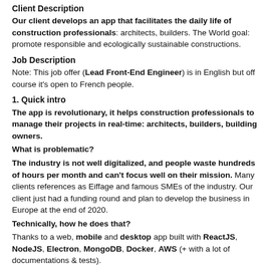Client Description
Our client develops an app that facilitates the daily life of construction professionals: architects, builders. The World goal: promote responsible and ecologically sustainable constructions.
Job Description
Note: This job offer (Lead Front-End Engineer) is in English but off course it's open to French people.
1. Quick intro
The app is revolutionary, it helps construction professionals to manage their projects in real-time: architects, builders, building owners.
What is problematic?
The industry is not well digitalized, and people waste hundreds of hours per month and can't focus well on their mission. Many clients references as Eiffage and famous SMEs of the industry. Our client just had a funding round and plan to develop the business in Europe at the end of 2020.
Technically, how he does that?
Thanks to a web, mobile and desktop app built with ReactJS, NodeJS, Electron, MongoDB, Docker, AWS (+ with a lot of documentations & tests).
Core mission
Promote responsible and ecological constructions while removing tensions and omnipresence of administrative work for construction professionals (big subject, today people from the industry are not focused on the heart of their values and work).
2. Why you'd like to join our client's team